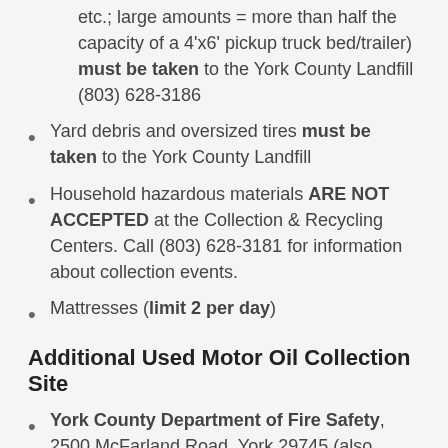etc.; large amounts = more than half the capacity of a 4'x6' pickup truck bed/trailer) must be taken to the York County Landfill (803) 628-3186
Yard debris and oversized tires must be taken to the York County Landfill
Household hazardous materials ARE NOT ACCEPTED at the Collection & Recycling Centers. Call (803) 628-3181 for information about collection events.
Mattresses (limit 2 per day)
Additional Used Motor Oil Collection Site
York County Department of Fire Safety, 2500 McFarland Road, York 29745 (also accepts oil